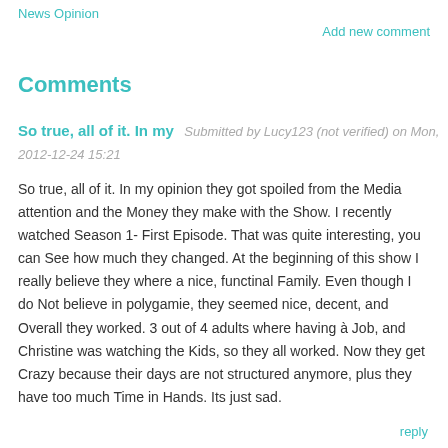News Opinion
Add new comment
Comments
So true, all of it. In my
Submitted by Lucy123 (not verified) on Mon, 2012-12-24 15:21
So true, all of it. In my opinion they got spoiled from the Media attention and the Money they make with the Show. I recently watched Season 1- First Episode. That was quite interesting, you can See how much they changed. At the beginning of this show I really believe they where a nice, functinal Family. Even though I do Not believe in polygamie, they seemed nice, decent, and Overall they worked. 3 out of 4 adults where having à Job, and Christine was watching the Kids, so they all worked. Now they get Crazy because their days are not structured anymore, plus they have too much Time in Hands. Its just sad.
reply